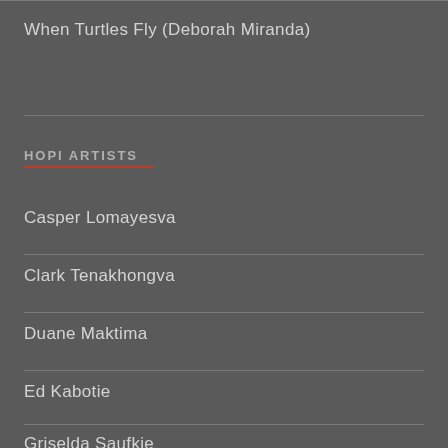When Turtles Fly (Deborah Miranda)
HOPI ARTISTS
Casper Lomayesva
Clark Tenakhongva
Duane Maktima
Ed Kabotie
Griselda Saufkie